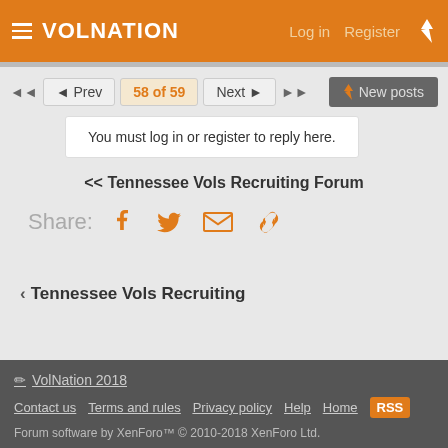VolNation  Log in  Register
◄ Prev  58 of 59  Next ►  New posts
You must log in or register to reply here.
<< Tennessee Vols Recruiting Forum
Share:
‹ Tennessee Vols Recruiting
VolNation 2018
Contact us  Terms and rules  Privacy policy  Help  Home
Forum software by XenForo™ © 2010-2018 XenForo Ltd.